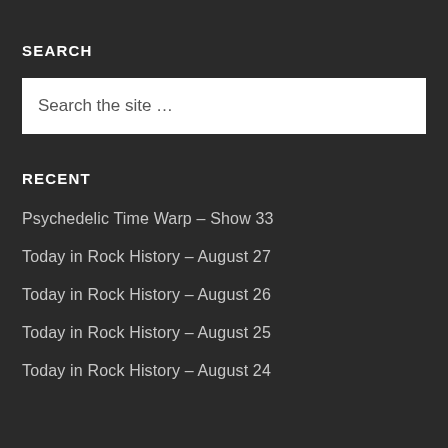SEARCH
Search the site …
RECENT
Psychedelic Time Warp – Show 33
Today in Rock History – August 27
Today in Rock History – August 26
Today in Rock History – August 25
Today in Rock History – August 24